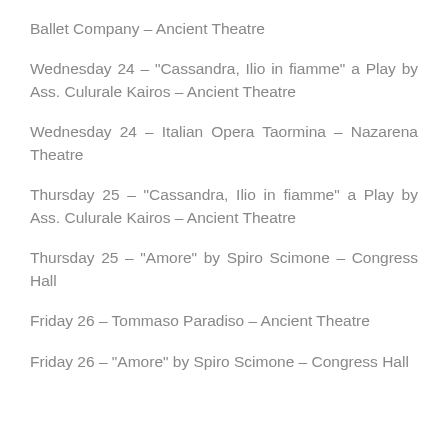Ballet Company – Ancient Theatre
Wednesday 24 – “Cassandra, Ilio in fiamme” a Play by Ass. Culurale Kairos – Ancient Theatre
Wednesday 24 – Italian Opera Taormina – Nazarena Theatre
Thursday 25 – “Cassandra, Ilio in fiamme” a Play by Ass. Culurale Kairos – Ancient Theatre
Thursday 25 – “Amore” by Spiro Scimone – Congress Hall
Friday 26 – Tommaso Paradiso – Ancient Theatre
Friday 26 – “Amore” by Spiro Scimone – Congress Hall